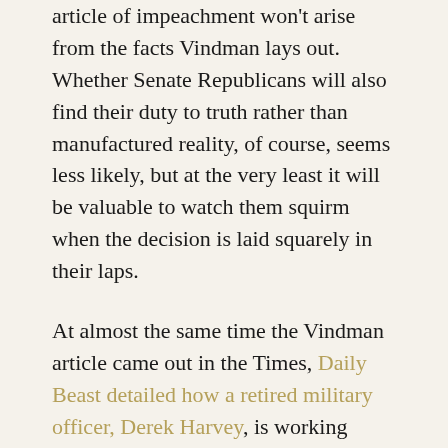article of impeachment won't arise from the facts Vindman lays out. Whether Senate Republicans will also find their duty to truth rather than manufactured reality, of course, seems less likely, but at the very least it will be valuable to watch them squirm when the decision is laid squarely in their laps.
At almost the same time the Vindman article came out in the Times, Daily Beast detailed how a retired military officer, Derek Harvey, is working outside proper channels to disclose the identity of the whistleblower, endangering this individual and making future whistleblowers less likely to expose corruption. Harvey seems to be a poster child for exactly the type of officer who flourished after the